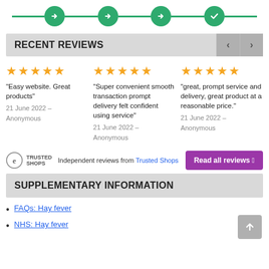[Figure (infographic): Progress bar with 4 green circles containing right-arrow or checkmark icons, connected by green horizontal lines]
RECENT REVIEWS
“Easy website. Great products”
21 June 2022 – Anonymous
“Super convenient smooth transaction prompt delivery felt confident using service”
21 June 2022 – Anonymous
“great, prompt service and delivery, great product at a reasonable price.”
21 June 2022 – Anonymous
Independent reviews from Trusted Shops
SUPPLEMENTARY INFORMATION
FAQs: Hay fever
NHS: Hay fever